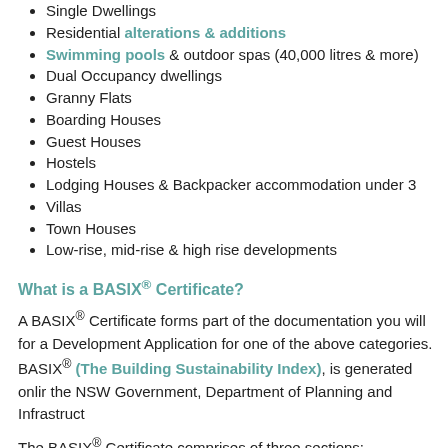Single Dwellings
Residential alterations & additions
Swimming pools & outdoor spas (40,000 litres & more)
Dual Occupancy dwellings
Granny Flats
Boarding Houses
Guest Houses
Hostels
Lodging Houses & Backpacker accommodation under 3
Villas
Town Houses
Low-rise, mid-rise & high rise developments
What is a BASIX® Certificate?
A BASIX® Certificate forms part of the documentation you will for a Development Application for one of the above categories. BASIX® (The Building Sustainability Index), is generated onlir the NSW Government, Department of Planning and Infrastruct
The BASIX® Certificate comprises of three sections:
Water
Thermal Comfort
Energy
To achieve a pass for the BASIX® Certificate, there are speci for Water (40) & Energy (50), which is for most areas and les